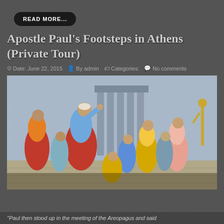READ MORE...
Apostle Paul's Footsteps in Athens (Private Tour)
Date: June 22, 2015  By admin  Categories:  No comments
[Figure (illustration): Classical painting depicting the Apostle Paul speaking at the Areopagus in Athens, surrounded by a crowd of listeners in ancient robes with Greek temple columns in the background.]
"Paul then stood up in the meeting of the Areopagus and said